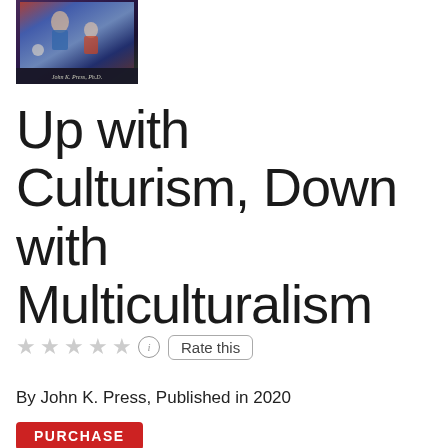[Figure (illustration): Book cover image showing a classical painting with figures, dark background, author name 'John K. Press, Ph.D.' at the bottom of the cover]
Up with Culturism, Down with Multiculturalism
★★★★★ (i) Rate this
By John K. Press, Published in 2020
PURCHASE